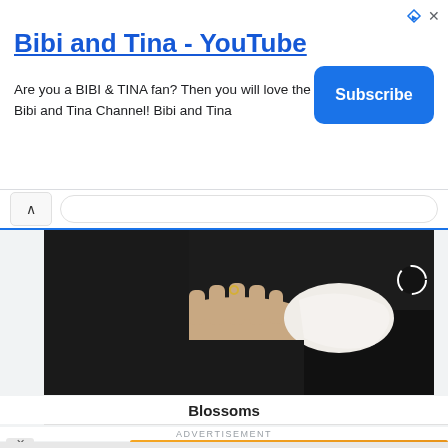[Figure (screenshot): YouTube channel ad banner for Bibi and Tina with title, description and Subscribe button]
Bibi and Tina - YouTube
Are you a BIBI & TINA fan? Then you will love the official Bibi and Tina Channel! Bibi and Tina
[Figure (screenshot): Browser navigation bar with back chevron and search bar with blue underline]
[Figure (photo): Video thumbnail showing hands on dark background with loading spinner icon]
Blossoms
ADVERTISEMENT
[Figure (screenshot): Mobile game advertisement with orange background, text 'Become a master of shooter!', DOWNLOAD NOW button, and cartoon star character]